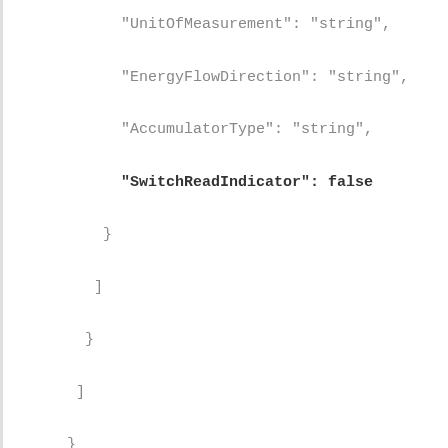"UnitOfMeasurement": "string",
"EnergyFlowDirection": "string",
"AccumulatorType": "string",
"SwitchReadIndicator": false
}
]
}
]
}
]
},
"Messages": [
"string"
]